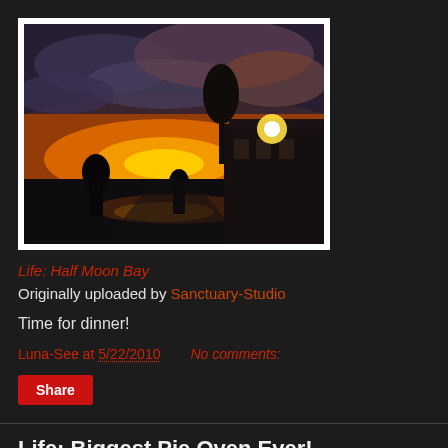[Figure (photo): Outdoor sunset photo showing silhouettes of people on a path near a coastal building, dramatic clouds with orange/yellow sky]
Life: Half Moon Bay
Originally uploaded by Sanctuary-Studio
Time for dinner!
Luna-See at 5/22/2010   No comments:
Share
Life: Biggest Pie Oven Ever!